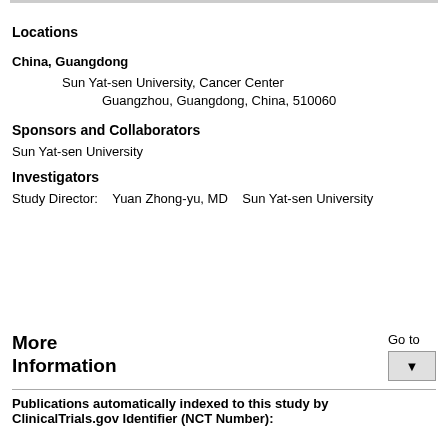Locations
China, Guangdong
Sun Yat-sen University, Cancer Center
Guangzhou, Guangdong, China, 510060
Sponsors and Collaborators
Sun Yat-sen University
Investigators
Study Director:    Yuan Zhong-yu, MD    Sun Yat-sen University
More Information
Go to
Publications automatically indexed to this study by ClinicalTrials.gov Identifier (NCT Number):